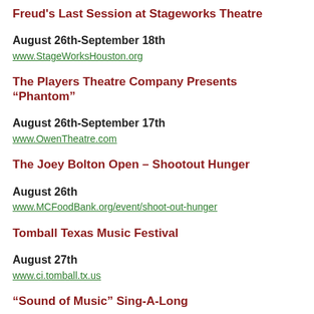Freud's Last Session at Stageworks Theatre
August 26th-September 18th
www.StageWorksHouston.org
The Players Theatre Company Presents “Phantom”
August 26th-September 17th
www.OwenTheatre.com
The Joey Bolton Open – Shootout Hunger
August 26th
www.MCFoodBank.org/event/shoot-out-hunger
Tomball Texas Music Festival
August 27th
www.ci.tomball.tx.us
“Sound of Music” Sing-A-Long
August 27th
www.WoodlandsCenter.org